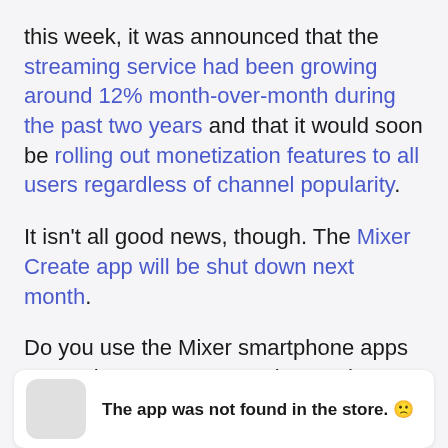this week, it was announced that the streaming service had been growing around 12% month-over-month during the past two years and that it would soon be rolling out monetization features to all users regardless of channel popularity.
It isn't all good news, though. The Mixer Create app will be shut down next month.
Do you use the Mixer smartphone apps to watch streams? Let us know why or why not in the comments below and then follow us on Pinterest for more geeky content.
The app was not found in the store. 🙁